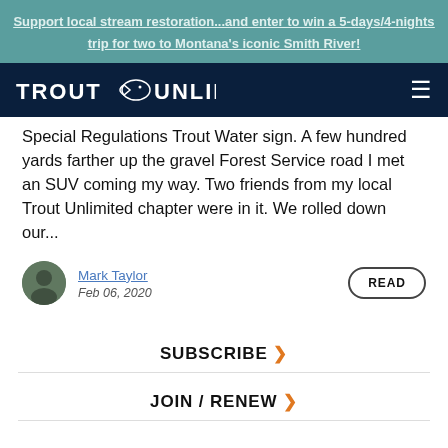Support local stream restoration...and enter to win a 5-days/4-nights trip for two to Montana's iconic Smith River!
[Figure (logo): Trout Unlimited logo with fish silhouette on dark navy background with hamburger menu icon]
Special Regulations Trout Water sign. A few hundred yards farther up the gravel Forest Service road I met an SUV coming my way. Two friends from my local Trout Unlimited chapter were in it. We rolled down our...
Mark Taylor
Feb 06, 2020
READ
SUBSCRIBE >
JOIN / RENEW >